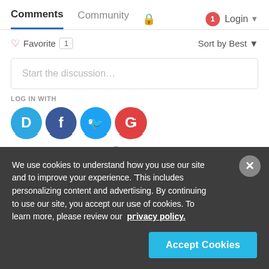Comments  Community  🔒  1  Login
♡ Favorite  1    Sort by Best
Start the discussion…
LOG IN WITH
[Figure (infographic): Four social login circles: Disqus (D, blue), Facebook (f, dark blue), Twitter (bird, light blue), Google (G, red)]
OR SIGN UP WITH DISQUS ?
We use cookies to understand how you use our site and to improve your experience. This includes personalizing content and advertising. By continuing to use our site, you accept our use of cookies. To learn more, please review our privacy policy.
Accept Cookies